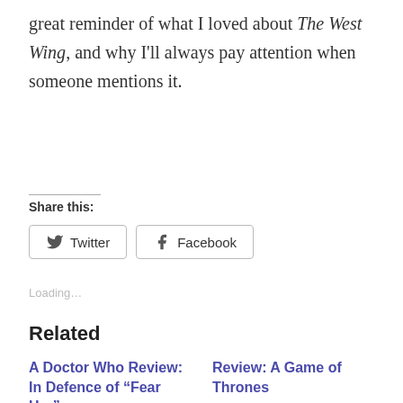great reminder of what I loved about The West Wing, and why I'll always pay attention when someone mentions it.
Share this:
Twitter
Facebook
Loading...
Related
A Doctor Who Review: In Defence of “Fear Her”
Review: A Game of Thrones
November 5, 2018